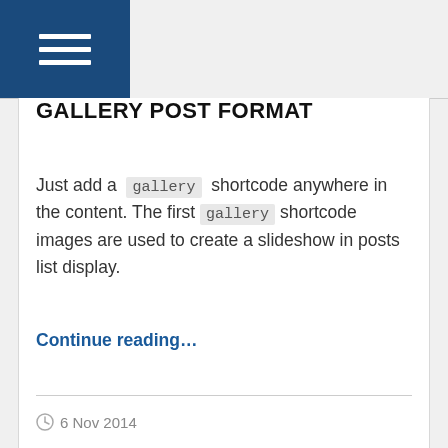GALLERY POST FORMAT
Just add a gallery shortcode anywhere in the content. The first gallery shortcode images are used to create a slideshow in posts list display.
Continue reading…
6 Nov 2014